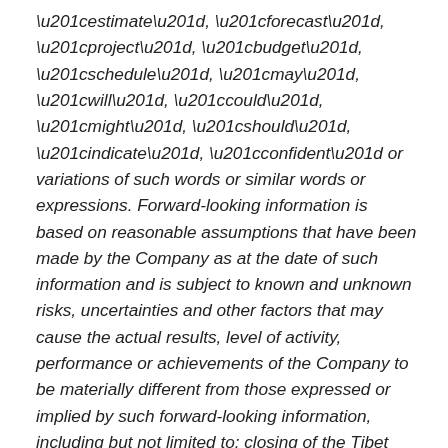“estimate”, “forecast”, “project”, “budget”, “schedule”, “may”, “will”, “could”, “might”, “should”, “indicate”, “confident” or variations of such words or similar words or expressions. Forward-looking information is based on reasonable assumptions that have been made by the Company as at the date of such information and is subject to known and unknown risks, uncertainties and other factors that may cause the actual results, level of activity, performance or achievements of the Company to be materially different from those expressed or implied by such forward-looking information, including but not limited to: closing of the Tibet Huayu Transaction; obtaining all required approvals for the Tibet Huayu Transaction; the ability of Tibet Huayu to develop and operate the Ethiopia Projects and Properties within the required laws and agreements; the outcome of the arbitration case with the developer for the Tanzanian projects; if the arbitration case